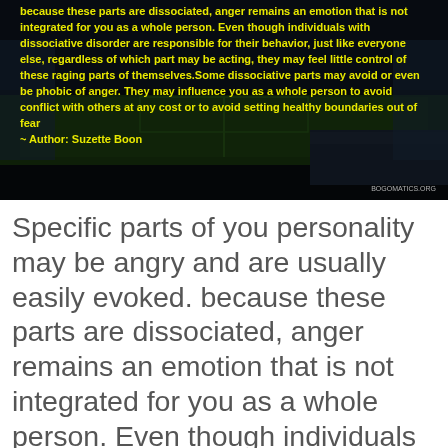[Figure (photo): Dark stadium/sports arena at night with overlay quote text in yellow bold font about dissociative parts and anger, attributed to Author: Suzette Boon]
Specific parts of you personality may be angry and are usually easily evoked. because these parts are dissociated, anger remains an emotion that is not integrated for you as a whole person. Even though individuals with dissociative disorder are responsible for their behavior, just like everyone else, regardless of which part may be acting, they may feel little control of these raging parts of themselves.
Some dissociative parts may avoid or even be phobic